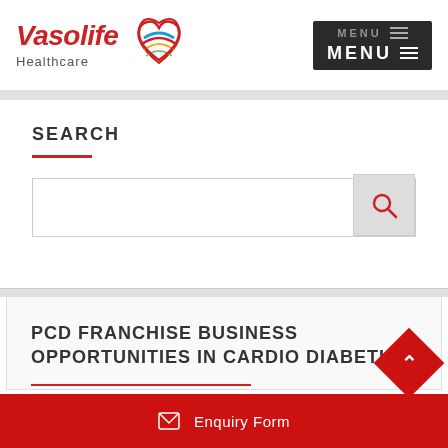[Figure (logo): Vasolife Healthcare logo with red italic text and colorful heart/ribbon graphic]
MENU
SEARCH
PCD FRANCHISE BUSINESS OPPORTUNITIES IN CARDIO DIABETIC
Enquiry Form